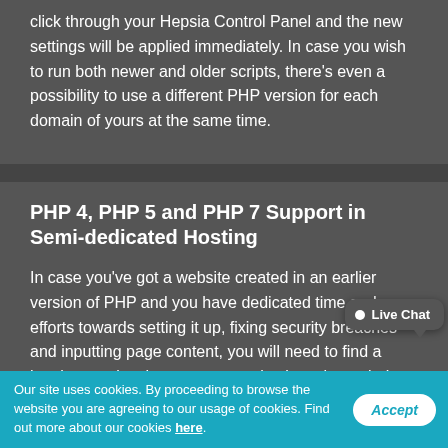click through your Hepsia Control Panel and the new settings will be applied immediately. In case you wish to run both newer and older scripts, there's even a possibility to use a different PHP version for each domain of yours at the same time.
PHP 4, PHP 5 and PHP 7 Support in Semi-dedicated Hosting
In case you've got a website created in an earlier version of PHP and you have dedicated time and efforts towards setting it up, fixing security breaches and inputting page content, you will need to find a hosting service that can support it, since the majority of web hosting suppliers
Our site uses cookies. By proceeding to browse the website you are agreeing to our usage of cookies. Find out more about our cookies here.